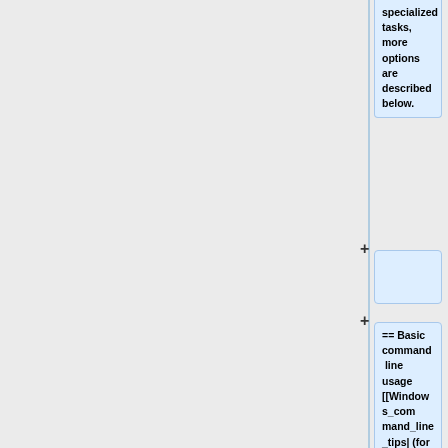specialized tasks, more options are described below.
== Basic command line usage [[Windows_command_line_tips|(for Windows: command-line hints here)]] ==
The basic "encoding" usage is <tt>wavpack filename.extension</tt> (which creates